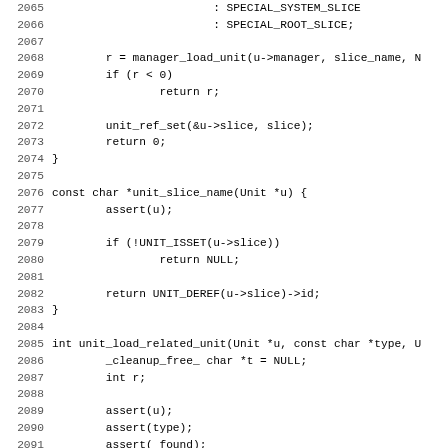Source code listing lines 2065–2097, C language code showing functions unit_slice_name and unit_load_related_unit